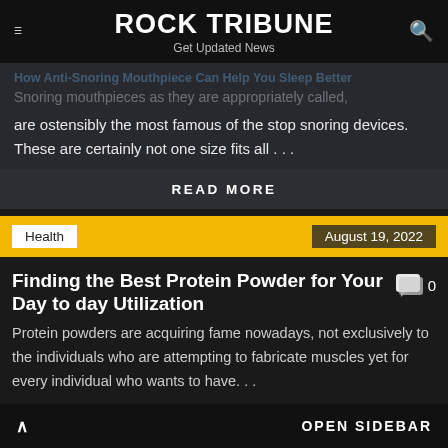ROCK TRIBUNE – Get Updated News
How Anti-Snoring Mouthpiece Can Help You Sleep Better
are ostensibly the most famous of the stop snoring devices. These are certainly not one size fits all . . .
READ MORE
Health  |  August 19, 2022
Finding the Best Protein Powder for Your Day to day Utilization
Protein powders are acquiring fame nowadays, not exclusively to the individuals who are attempting to fabricate muscles yet for every individual who wants to have. . .
^ OPEN SIDEBAR